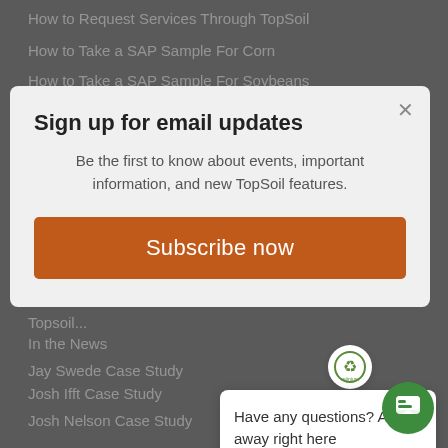How to Request Services Through TopSoil
How to Take a SAP Sample For Corn
How to Take a SAP Sample For Soybeans
Sign up for email updates
Be the first to know about events, important information, and new TopSoil features.
Subscribe now
How to Zip Files to Upl...
In the News
Jay Swede Case Study
John Carter Case Study
Josh Ifft Case Study
Josh Nelson Case Study
Have any questions? Ask away right here